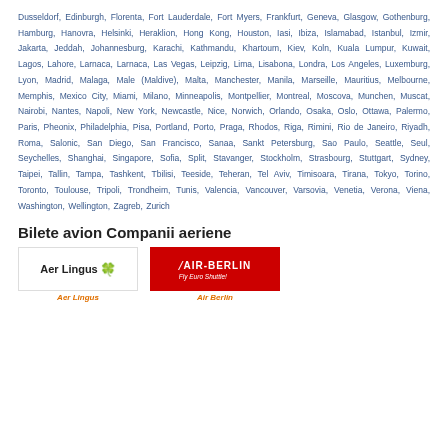Dusseldorf, Edinburgh, Florenta, Fort Lauderdale, Fort Myers, Frankfurt, Geneva, Glasgow, Gothenburg, Hamburg, Hanovra, Helsinki, Heraklion, Hong Kong, Houston, Iasi, Ibiza, Islamabad, Istanbul, Izmir, Jakarta, Jeddah, Johannesburg, Karachi, Kathmandu, Khartoum, Kiev, Koln, Kuala Lumpur, Kuwait, Lagos, Lahore, Larnaca, Larnaca, Las Vegas, Leipzig, Lima, Lisabona, Londra, Los Angeles, Luxemburg, Lyon, Madrid, Malaga, Male (Maldive), Malta, Manchester, Manila, Marseille, Mauritius, Melbourne, Memphis, Mexico City, Miami, Milano, Minneapolis, Montpellier, Montreal, Moscova, Munchen, Muscat, Nairobi, Nantes, Napoli, New York, Newcastle, Nice, Norwich, Orlando, Osaka, Oslo, Ottawa, Palermo, Paris, Pheonix, Philadelphia, Pisa, Portland, Porto, Praga, Rhodos, Riga, Rimini, Rio de Janeiro, Riyadh, Roma, Salonic, San Diego, San Francisco, Sanaa, Sankt Petersburg, Sao Paulo, Seattle, Seul, Seychelles, Shanghai, Singapore, Sofia, Split, Stavanger, Stockholm, Strasbourg, Stuttgart, Sydney, Taipei, Tallin, Tampa, Tashkent, Tbilisi, Teeside, Teheran, Tel Aviv, Timisoara, Tirana, Tokyo, Torino, Toronto, Toulouse, Tripoli, Trondheim, Tunis, Valencia, Vancouver, Varsovia, Venetia, Verona, Viena, Washington, Wellington, Zagreb, Zurich
Bilete avion Companii aeriene
[Figure (logo): Aer Lingus logo with shamrock icon]
[Figure (logo): Air Berlin Fly Euro Shuttle logo on red background]
Aer Lingus
Air Berlin